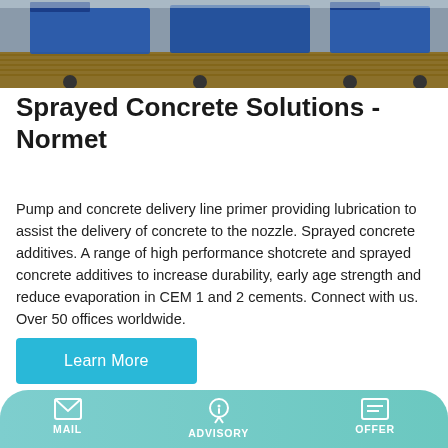[Figure (photo): Photo of heavy transport trucks/flatbed trailers loaded with blue equipment on a yard, viewed from front.]
Sprayed Concrete Solutions - Normet
Pump and concrete delivery line primer providing lubrication to assist the delivery of concrete to the nozzle. Sprayed concrete additives. A range of high performance shotcrete and sprayed concrete additives to increase durability, early age strength and reduce evaporation in CEM 1 and 2 cements. Connect with us. Over 50 offices worldwide.
[Figure (photo): Photo of blue industrial concrete spraying equipment (shotcrete machine) on a truck with palm trees and utility lines in background.]
MAIL   ADVISORY   OFFER